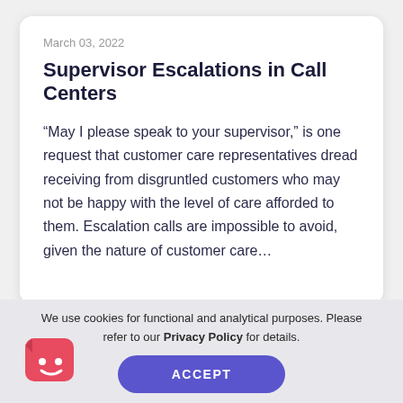March 03, 2022
Supervisor Escalations in Call Centers
“May I please speak to your supervisor,” is one request that customer care representatives dread receiving from disgruntled customers who may not be happy with the level of care afforded to them. Escalation calls are impossible to avoid, given the nature of customer care…
We use cookies for functional and analytical purposes. Please refer to our Privacy Policy for details.